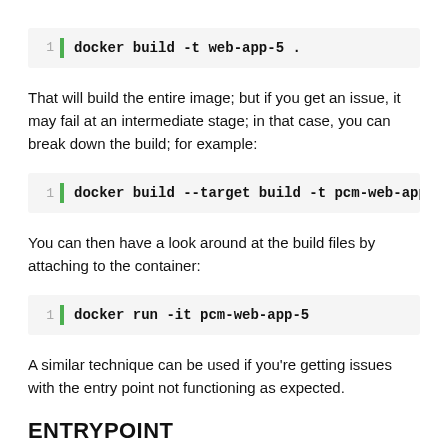docker build -t web-app-5 .
That will build the entire image; but if you get an issue, it may fail at an intermediate stage; in that case, you can break down the build; for example:
docker build --target build -t pcm-web-app-5
You can then have a look around at the build files by attaching to the container:
docker run -it pcm-web-app-5
A similar technique can be used if you're getting issues with the entry point not functioning as expected.
ENTRYPOINT